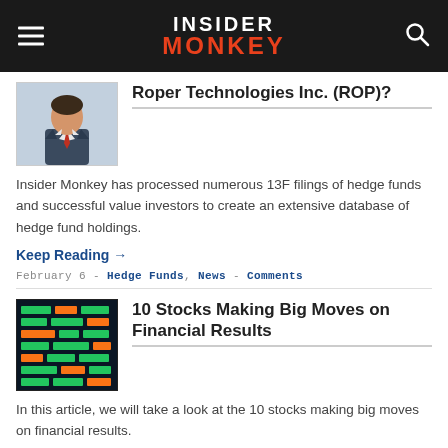INSIDER MONKEY
Roper Technologies Inc. (ROP)?
Insider Monkey has processed numerous 13F filings of hedge funds and successful value investors to create an extensive database of hedge fund holdings.
Keep Reading →
February 6 - Hedge Funds, News - Comments
10 Stocks Making Big Moves on Financial Results
In this article, we will take a look at the 10 stocks making big moves on financial results.
Keep Reading →